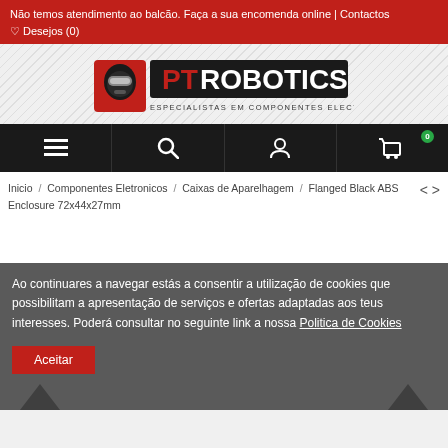Não temos atendimento ao balcão. Faça a sua encomenda online | Contactos
♡ Desejos (0)
[Figure (logo): PT Robotics logo with robot face icon and text PTROBOTICS - ESPECIALISTAS EM COMPONENTES ELECTRÓNICOS]
[Figure (screenshot): Navigation bar with hamburger menu, search, user account, and cart (0) icons on black background]
Inicio / Componentes Eletronicos / Caixas de Aparelhagem / Flanged Black ABS Enclosure 72x44x27mm
Ao continuares a navegar estás a consentir a utilização de cookies que possibilitam a apresentação de serviços e ofertas adaptadas aos teus interesses. Poderá consultar no seguinte link a nossa Politica de Cookies
Aceitar